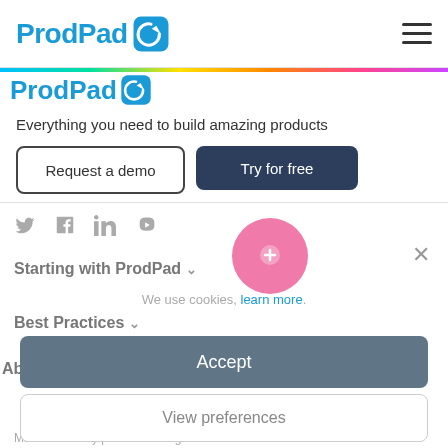[Figure (logo): ProdPad logo with blue text and arrow icon in top navigation bar]
Everything you need to build amazing products
Request a demo
Try for free
[Figure (illustration): Social media icons: Twitter, Facebook, LinkedIn, YouTube in grey]
[Figure (illustration): Pink circular chat bubble icon with a small heart/plus icon]
Starting with ProdPad
We use cookies, learn more.
Best Practices
Accept
About Us
View preferences
Made with ♥ by product managers